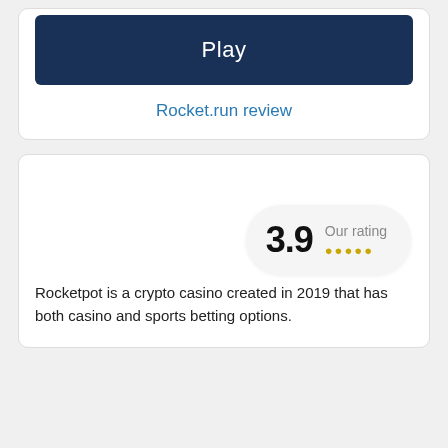[Figure (other): Play button – dark navy blue rounded rectangle button with white text 'Play']
Rocket.run review
[Figure (other): Rating box showing 3.9 with 'Our rating' label and star dots]
Rocketpot is a crypto casino created in 2019 that has both casino and sports betting options.